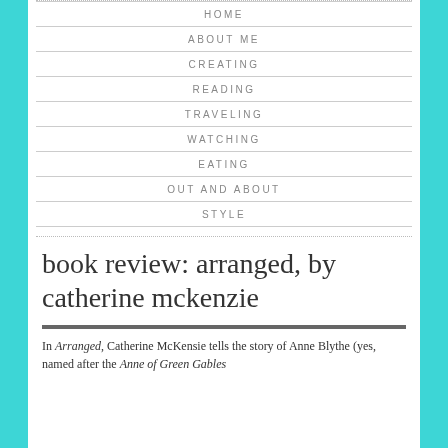HOME
ABOUT ME
CREATING
READING
TRAVELING
WATCHING
EATING
OUT AND ABOUT
STYLE
book review: arranged, by catherine mckenzie
In Arranged, Catherine McKensie tells the story of Anne Blythe (yes, named after the Anne of Green Gables